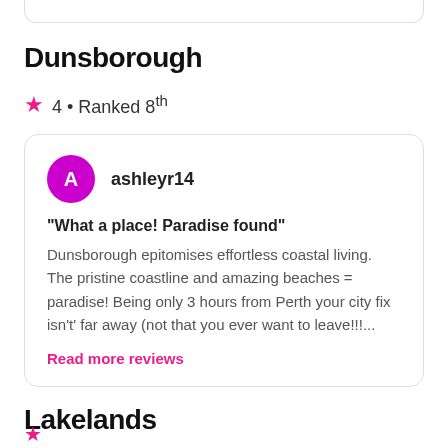Dunsborough
4 • Ranked 8th
ashleyr14
"What a place! Paradise found"
Dunsborough epitomises effortless coastal living. The pristine coastline and amazing beaches = paradise! Being only 3 hours from Perth your city fix isn't' far away (not that you ever want to leave!!!...
Read more reviews
Lakelands